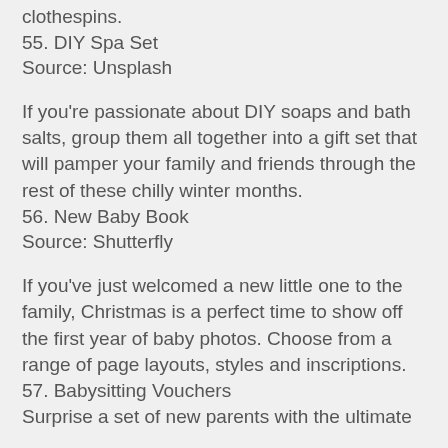clothespins.
55. DIY Spa Set
Source: Unsplash
If you're passionate about DIY soaps and bath salts, group them all together into a gift set that will pamper your family and friends through the rest of these chilly winter months.
56. New Baby Book
Source: Shutterfly
If you've just welcomed a new little one to the family, Christmas is a perfect time to show off the first year of baby photos. Choose from a range of page layouts, styles and inscriptions.
57. Babysitting Vouchers
Surprise a set of new parents with the ultimate